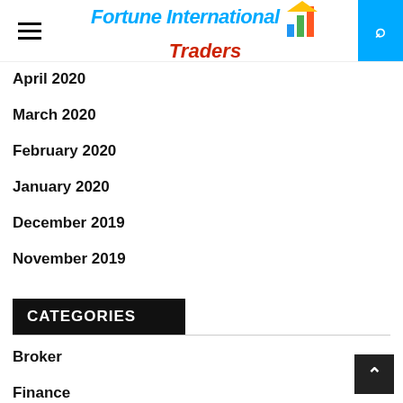Fortune International Traders
April 2020
March 2020
February 2020
January 2020
December 2019
November 2019
CATEGORIES
Broker
Finance
Forex
Investment